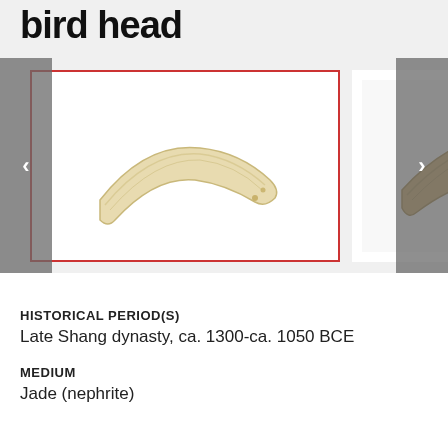bird head
[Figure (photo): Two thumbnail images of a jade nephrite bird head artifact from the Late Shang dynasty. First thumbnail is selected with a red border showing a curved whitish jade piece. Second thumbnail shows the same or similar object from a different angle with more brownish coloring.]
1 of 2
HISTORICAL PERIOD(S)
Late Shang dynasty, ca. 1300-ca. 1050 BCE
MEDIUM
Jade (nephrite)